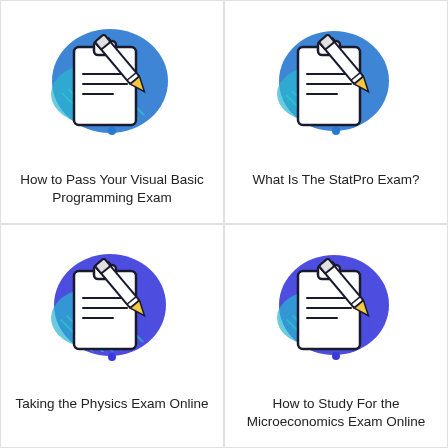[Figure (illustration): Clipboard with pencil exam icon on blue blob background]
How to Pass Your Visual Basic Programming Exam
[Figure (illustration): Clipboard with pencil exam icon on blue blob background]
What Is The StatPro Exam?
[Figure (illustration): Clipboard with pencil exam icon on blue blob background]
Taking the Physics Exam Online
[Figure (illustration): Clipboard with pencil exam icon on blue blob background]
How to Study For the Microeconomics Exam Online